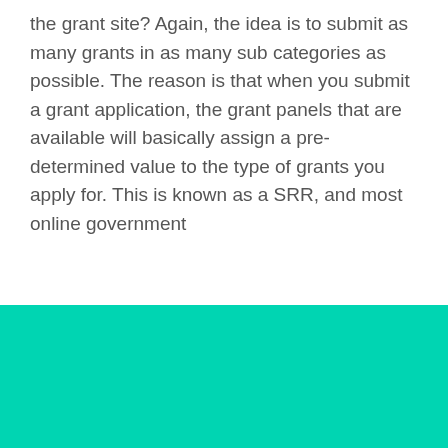the grant site? Again, the idea is to submit as many grants in as many sub categories as possible. The reason is that when you submit a grant application, the grant panels that are available will basically assign a pre-determined value to the type of grants you apply for. This is known as a SRR, and most online government